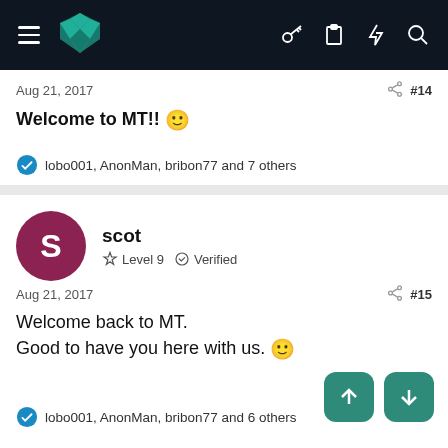Navigation bar with logo and icons
Aug 21, 2017  #14
Welcome to MT!! 🙂
lobo001, AnonMan, bribon77 and 7 others
scot  Level 9  Verified
Aug 21, 2017  #15
Welcome back to MT.
Good to have you here with us. 🙂
lobo001, AnonMan, bribon77 and 6 others